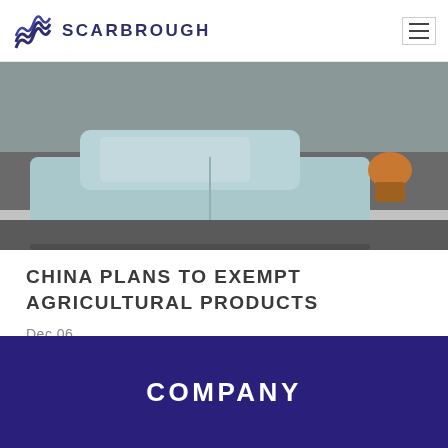SCARBROUGH
[Figure (photo): Overhead or street-level photo of a vehicle (light blue/teal car) on a road/pavement, with asphalt and a white line visible. Another vehicle partially visible at top right.]
CHINA PLANS TO EXEMPT AGRICULTURAL PRODUCTS
Dec 06
COMPANY